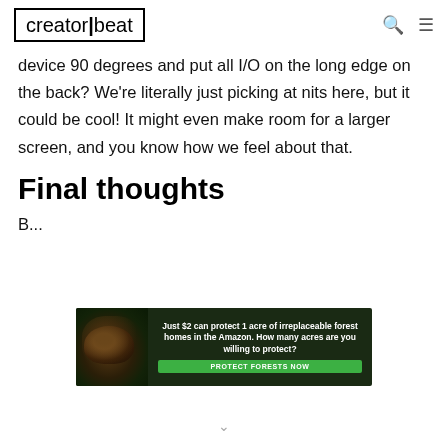creatorbeat
device 90 degrees and put all I/O on the long edge on the back? We're literally just picking at nits here, but it could be cool! It might even make room for a larger screen, and you know how we feel about that.
Final thoughts
B...
[Figure (infographic): Advertisement banner: 'Just $2 can protect 1 acre of irreplaceable forest homes in the Amazon. How many acres are you willing to protect?' with a PROTECT FORESTS NOW button and rainforest/animal imagery.]